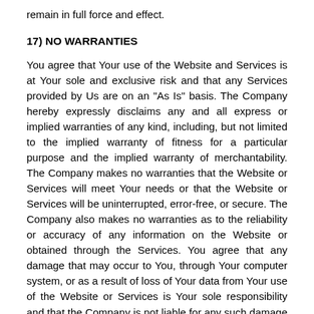remain in full force and effect.
17) NO WARRANTIES
You agree that Your use of the Website and Services is at Your sole and exclusive risk and that any Services provided by Us are on an "As Is" basis. The Company hereby expressly disclaims any and all express or implied warranties of any kind, including, but not limited to the implied warranty of fitness for a particular purpose and the implied warranty of merchantability. The Company makes no warranties that the Website or Services will meet Your needs or that the Website or Services will be uninterrupted, error-free, or secure. The Company also makes no warranties as to the reliability or accuracy of any information on the Website or obtained through the Services. You agree that any damage that may occur to You, through Your computer system, or as a result of loss of Your data from Your use of the Website or Services is Your sole responsibility and that the Company is not liable for any such damage or